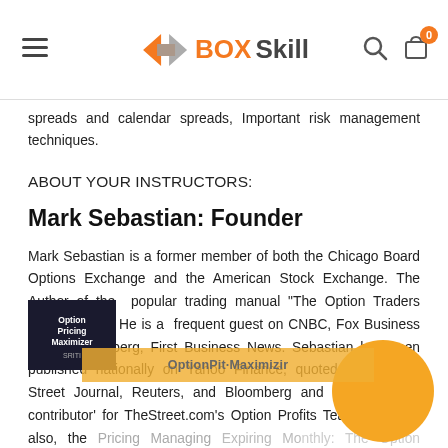BOXSkill
spreads and calendar spreads, Important risk management techniques.
ABOUT YOUR INSTRUCTORS:
Mark Sebastian: Founder
Mark Sebastian is a former member of both the Chicago Board Options Exchange and the American Stock Exchange. The Author of the popular trading manual "The Option Traders Hedge fund." He is a frequent guest on CNBC, Fox Business News, Bloomberg, First Business News. Sebastian has been published nationally on Yahoo Finance, quoted in the Wall Street Journal, Reuters, and Bloomberg and is an 'all-star contributor' for TheStreet.com's Option Profits Team. Mark is also, the Pricing Managing Expiring Monthly: The Option Traders Journal an all digital, all options magazine. has spoken for the CBOE, the ISE, CME, VOLX and is t on the popular Option Block Podcast and Volati ws podcast. Mark has a Bachelor's in Science from Villanova